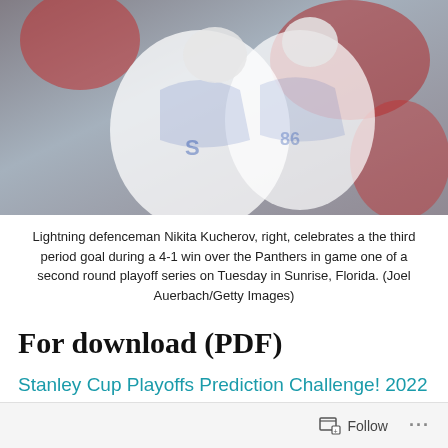[Figure (photo): Two Tampa Bay Lightning hockey players in white jerseys hugging/celebrating on ice, with fans in red in the background behind the glass.]
Lightning defenceman Nikita Kucherov, right, celebrates a the third period goal during a 4-1 win over the Panthers in game one of a second round playoff series on Tuesday in Sunrise, Florida. (Joel Auerbach/Getty Images)
For download (PDF)
Stanley Cup Playoffs Prediction Challenge! 2022 Second Round 05-17
Follow ...